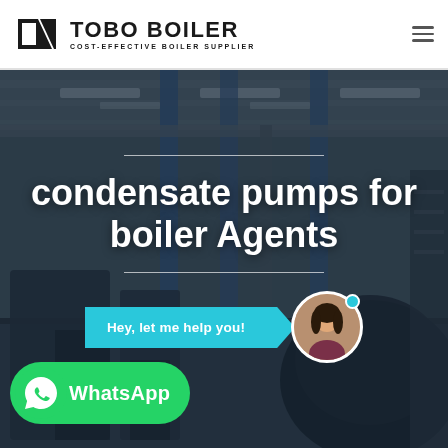TOBO BOILER — COST-EFFECTIVE BOILER SUPPLIER
[Figure (photo): Hero image of industrial boiler manufacturing facility with overhead cranes, blue vertical columns, and large boiler components on the factory floor. Overlaid with semi-transparent dark tint.]
condensate pumps for boiler Agents
Hey, let me help you!
WhatsApp